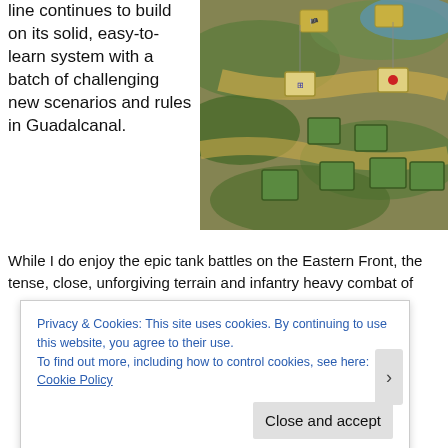line continues to build on its solid, easy-to-learn system with a batch of challenging new scenarios and rules in Guadalcanal.
[Figure (photo): Aerial view of a war board game in progress, showing terrain tiles with hills and rivers, and various game piece counters representing military units including American and Japanese flags]
While I do enjoy the epic tank battles on the Eastern Front, the tense, close, unforgiving terrain and infantry heavy combat of
Privacy & Cookies: This site uses cookies. By continuing to use this website, you agree to their use.
To find out more, including how to control cookies, see here: Cookie Policy
Close and accept